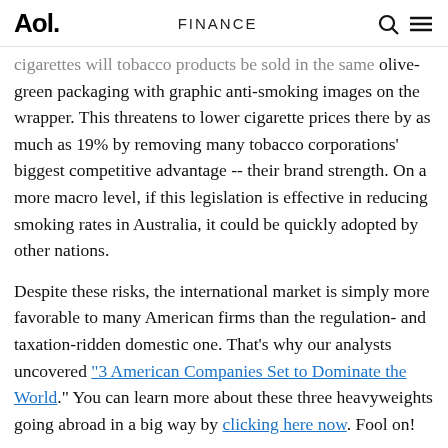Aol. | FINANCE
cigarettes will tobacco products be sold in the same olive-green packaging with graphic anti-smoking images on the wrapper. This threatens to lower cigarette prices there by as much as 19% by removing many tobacco corporations' biggest competitive advantage -- their brand strength. On a more macro level, if this legislation is effective in reducing smoking rates in Australia, it could be quickly adopted by other nations.
Despite these risks, the international market is simply more favorable to many American firms than the regulation- and taxation-ridden domestic one. That's why our analysts uncovered "3 American Companies Set to Dominate the World." You can learn more about these three heavyweights going abroad in a big way by clicking here now. Fool on!
At the time this article was published Austin Smith...